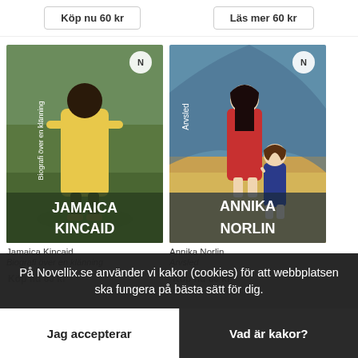Köp nu 60 kr
Läs mer 60 kr
[Figure (photo): Book cover: Biografi över en klänning by Jamaica Kincaid, illustrated cover with a dark-skinned figure in a yellow dress on a green background, Novellix publisher logo]
[Figure (photo): Book cover: Arvsled by Annika Norlin, illustrated cover with a woman in red dress holding a child's hand on a beach background, Novellix publisher logo]
Jamaica Kincaid
Annika Norlin
Biografi över en klänning
Arvsled
Köp nu 60 kr
Köp nu 60 kr
På Novellix.se använder vi kakor (cookies) för att webbplatsen ska fungera på bästa sätt för dig.
Jag accepterar
Vad är kakor?